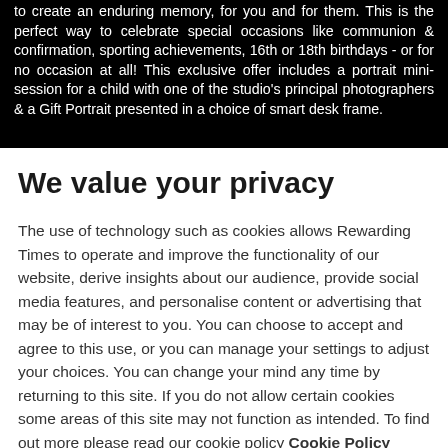to create an enduring memory, for you and for them. This is the perfect way to celebrate special occasions like communion & confirmation, sporting achievements, 16th or 18th birthdays - or for no occasion at all! This exclusive offer includes a portrait mini-session for a child with one of the studio's principal photographers & a Gift Portrait presented in a choice of smart desk frame.
We value your privacy
The use of technology such as cookies allows Rewarding Times to operate and improve the functionality of our website, derive insights about our audience, provide social media features, and personalise content or advertising that may be of interest to you. You can choose to accept and agree to this use, or you can manage your settings to adjust your choices. You can change your mind any time by returning to this site. If you do not allow certain cookies some areas of this site may not function as intended. To find out more please read our cookie policy Cookie Policy